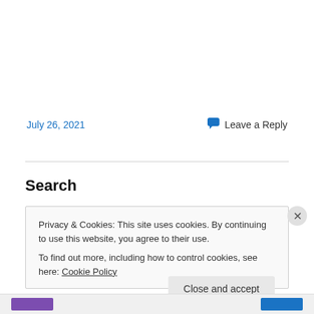July 26, 2021
Leave a Reply
Search
Privacy & Cookies: This site uses cookies. By continuing to use this website, you agree to their use.
To find out more, including how to control cookies, see here: Cookie Policy
Close and accept